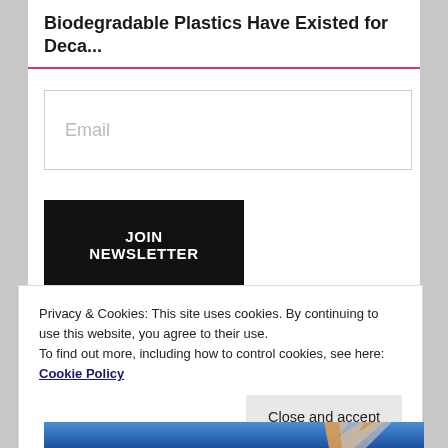Biodegradable Plastics Have Existed for Deca...
Email
JOIN NEWSLETTER
Privacy & Cookies: This site uses cookies. By continuing to use this website, you agree to their use.
To find out more, including how to control cookies, see here: Cookie Policy
Close and accept
[Figure (photo): Partial view of a trophy or award figure against a blue gradient background]